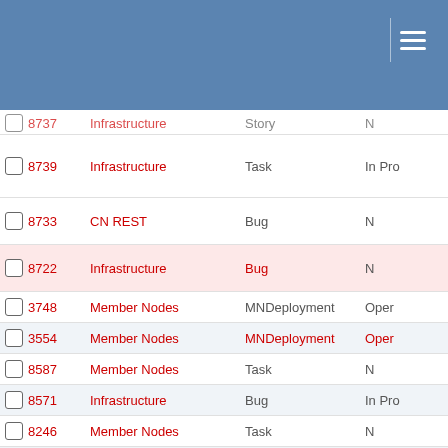|  | ID | Module | Type | Status |
| --- | --- | --- | --- | --- |
|  | 8737 | Infrastructure | Story | N |
|  | 8739 | Infrastructure | Task | In Pro |
|  | 8733 | CN REST | Bug | N |
|  | 8722 | Infrastructure | Bug | N |
|  | 3748 | Member Nodes | MNDeployment | Oper |
|  | 3554 | Member Nodes | MNDeployment | Oper |
|  | 8587 | Member Nodes | Task | N |
|  | 8571 | Infrastructure | Bug | In Pro |
|  | 8246 | Member Nodes | Task | N |
|  | 8570 | Infrastructure | Bug | N |
|  | 8469 | CN REST | Task | In Pro |